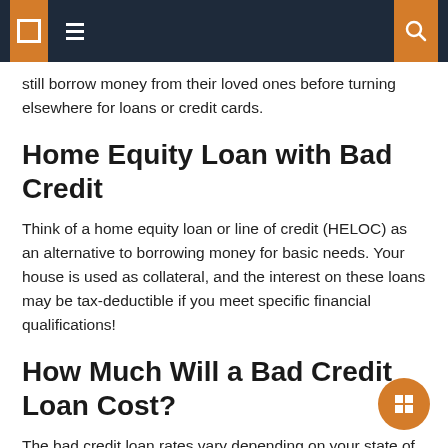[Navigation bar with menu icons and search]
still borrow money from their loved ones before turning elsewhere for loans or credit cards.
Home Equity Loan with Bad Credit
Think of a home equity loan or line of credit (HELOC) as an alternative to borrowing money for basic needs. Your house is used as collateral, and the interest on these loans may be tax-deductible if you meet specific financial qualifications!
How Much Will a Bad Credit Loan Cost?
The bad credit loan rates vary depending on your state of residence and financial background. The average cost this type of application falls between 4% – 35%.